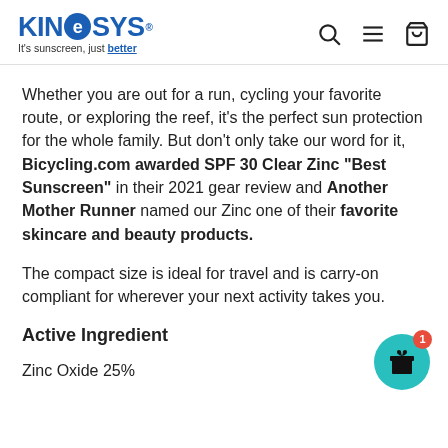KineSYS - It's sunscreen, just better
Whether you are out for a run, cycling your favorite route, or exploring the reef, it's the perfect sun protection for the whole family. But don't only take our word for it, Bicycling.com awarded SPF 30 Clear Zinc “Best Sunscreen” in their 2021 gear review and Another Mother Runner named our Zinc one of their favorite skincare and beauty products.
The compact size is ideal for travel and is carry-on compliant for wherever your next activity takes you.
Active Ingredient
Zinc Oxide 25%